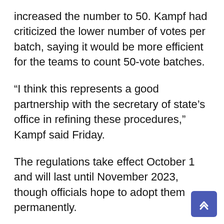increased the number to 50. Kampf had criticized the lower number of votes per batch, saying it would be more efficient for the teams to count 50-vote batches.
“I think this represents a good partnership with the secretary of state’s office in refining these procedures,” Kampf said Friday.
The regulations take effect October 1 and will last until November 2023, though officials hope to adopt them permanently.
Four voting groups — Brennan Center, All Voting Is Local, American Civil Liberties